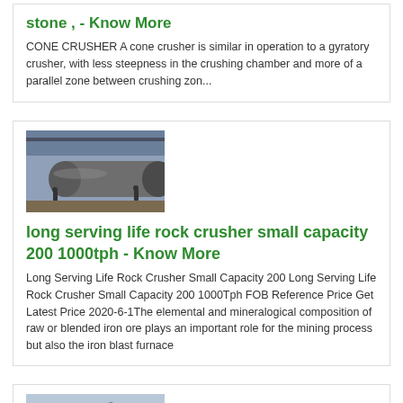stone , - Know More
CONE CRUSHER A cone crusher is similar in operation to a gyratory crusher, with less steepness in the crushing chamber and more of a parallel zone between crushing zon...
[Figure (photo): Industrial photo of large cylindrical drum/pipe in a factory or warehouse setting with workers and overhead crane]
long serving life rock crusher small capacity 200 1000tph - Know More
Long Serving Life Rock Crusher Small Capacity 200 Long Serving Life Rock Crusher Small Capacity 200 1000Tph FOB Reference Price Get Latest Price 2020-6-1The elemental and mineralogical composition of raw or blended iron ore plays an important role for the mining process but also the iron blast furnace
[Figure (photo): Partial view of heavy mining/crushing equipment, red and green machinery visible at bottom of page]